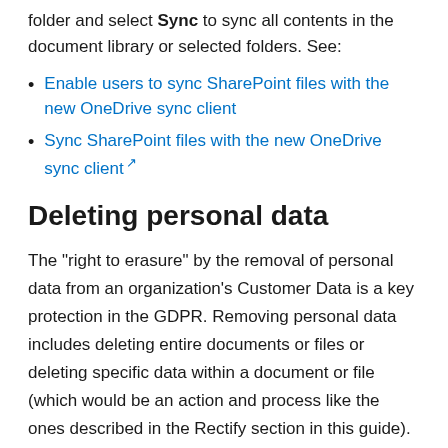folder and select Sync to sync all contents in the document library or selected folders. See:
Enable users to sync SharePoint files with the new OneDrive sync client
Sync SharePoint files with the new OneDrive sync client
Deleting personal data
The "right to erasure" by the removal of personal data from an organization's Customer Data is a key protection in the GDPR. Removing personal data includes deleting entire documents or files or deleting specific data within a document or file (which would be an action and process like the ones described in the Rectify section in this guide).
As you investigate or prepare to delete personal data in